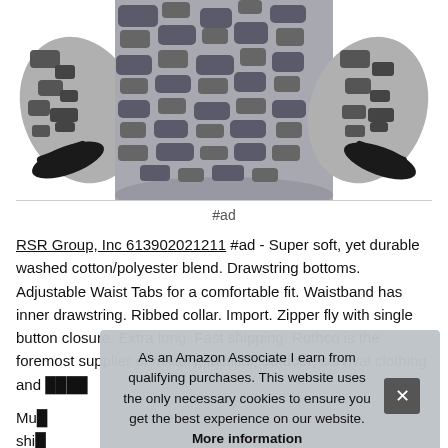[Figure (photo): Camouflage military-style sweatshirt/hoodie with digital camo pattern in grey and dark grey, showing both sleeves extended with black ribbed cuffs]
#ad
RSR Group, Inc 613902021211 #ad - Super soft, yet durable washed cotton/polyester blend. Drawstring bottoms. Adjustable Waist Tabs for a comfortable fit. Waistband has inner drawstring. Ribbed collar. Import. Zipper fly with single button closure. Extra long. Fast shipping! Rothco is the foremost supplier of military, tactical, outdoor, survival clothing and more
Multiple colors available. Long sleeve shirts. Imported shirts. Available from french zipper fly, button waist. Inner drawstring. Two front
As an Amazon Associate I earn from qualifying purchases. This website uses the only necessary cookies to ensure you get the best experience on our website. More information